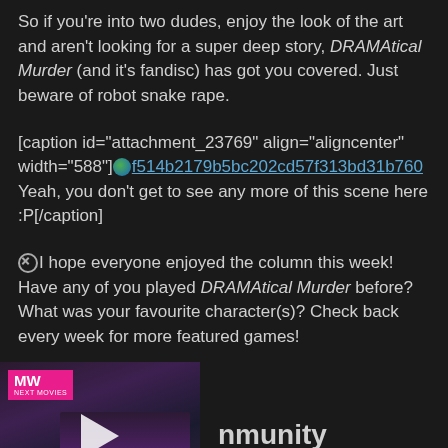So if you're into two dudes, enjoy the look of the art and aren't looking for a super deep story, DRAMAtical Murder (and it's fandisc) has got you covered. Just beware of robot snake rape.
[caption id="attachment_23769" align="aligncenter" width="588"] [globe icon] f514b2179b5bc202cd57f313bd31b760 Yeah, you don't get to see any more of this scene here :P[/caption]
I hope everyone enjoyed the column this week! Have any of you played DRAMAtical Murder before? What was your favourite character(s)? Check back every week for more featured games!
[Figure (screenshot): Video thumbnail showing a woman with dark hair, with a pink MW logo in the top-left, a play button in the center, and 'BEST ZOMBIE GAMES' text overlay at the bottom. Partially visible text 'nmunity' appears to the right.]